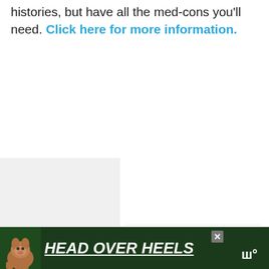histories, but have all the med-cons you'll need. Click here for more information.
[Figure (infographic): Like button (heart icon) in blue circle, count of 1, and share button below it on the right side]
[Figure (infographic): What's Next panel with landscape thumbnail and text: WHAT'S NEXT → National Trust Properties...]
[Figure (infographic): Advertisement banner at bottom: dark green background with dog image, HEAD OVER HEELS text in white italic, close X button, and Ww logo]